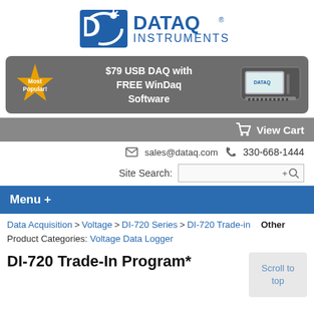[Figure (logo): DATAQ Instruments logo with blue swoosh/satellite dish icon and blue text reading DATAQ INSTRUMENTS]
[Figure (infographic): Dark gray banner advertisement showing 'Most Popular!' gold badge, text '$79 USB DAQ with FREE WinDaq Software', and a photo of a DAQ device]
View Cart
sales@dataq.com   330-668-1444
Site Search: +Q
Menu +
Data Acquisition > Voltage > DI-720 Series > DI-720 Trade-in   Other
Product Categories: Voltage Data Logger
DI-720 Trade-In Program*